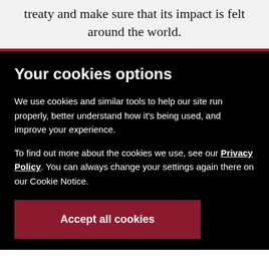treaty and make sure that its impact is felt around the world.
Your cookies options
We use cookies and similar tools to help our site run properly, better understand how it’s being used, and improve your experience.
To find out more about the cookies we use, see our Privacy Policy. You can always change your settings again there on our Cookie Notice.
Manage Cookies ▼
Accept all cookies